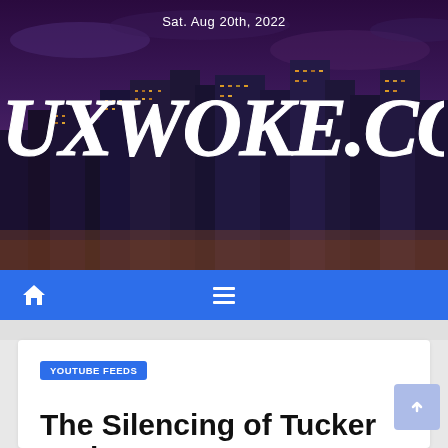Sat. Aug 20th, 2022
[Figure (illustration): FauxWoke.com website header banner with city skyline background (purple/dusk sky with illuminated skyscrapers) and handwritten-style white logo text 'FAUXWOKE.COM']
FAUXWOKE.COM
Home icon | Hamburger menu icon
YOUTUBE FEEDS
The Silencing of Tucker Carlson